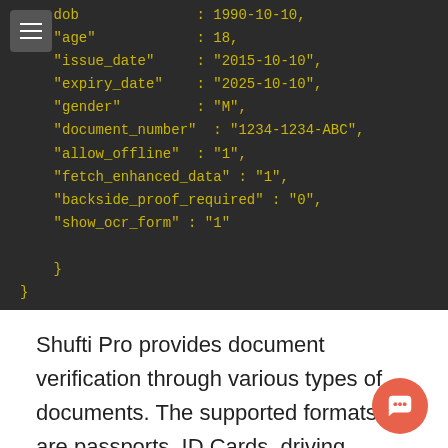[Figure (screenshot): Dark-themed code editor screenshot showing JSON-like key-value pairs including dob (truncated), age: 18, issue_date: 2015-10-10, expiry_date: 2025-10-10, gender: M, document_number: 1234-1234-ABC, allow_offline: 1, fetch_enhanced_data: 1, backside_proof_required: 0, show_ocr_form: 1, followed by closing braces. A hamburger menu icon is in the top-left corner.]
Shufti Pro provides document verification through various types of documents. The supported formats are passports, ID Cards, driving licenses and debit/credit cards. You can